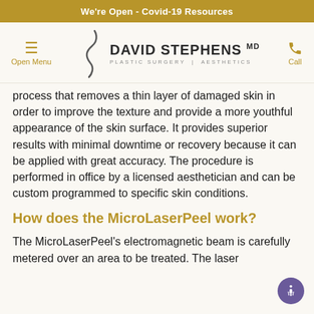We're Open - Covid-19 Resources
[Figure (logo): David Stephens MD Plastic Surgery | Aesthetics logo with stylized S symbol]
process that removes a thin layer of damaged skin in order to improve the texture and provide a more youthful appearance of the skin surface. It provides superior results with minimal downtime or recovery because it can be applied with great accuracy. The procedure is performed in office by a licensed aesthetician and can be custom programmed to specific skin conditions.
How does the MicroLaserPeel work?
The MicroLaserPeel's electromagnetic beam is carefully metered over an area to be treated. The laser